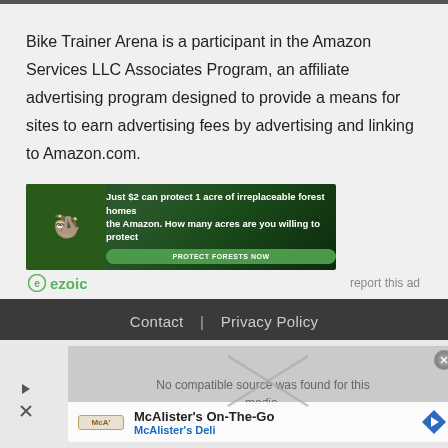Bike Trainer Arena is a participant in the Amazon Services LLC Associates Program, an affiliate advertising program designed to provide a means for sites to earn advertising fees by advertising and linking to Amazon.com.
[Figure (screenshot): Advertisement banner showing rainforest image with text 'Just $2 can protect 1 acre of irreplaceable forest homes the Amazon. How many acres are you willing to protect' and a green 'PROTECT FORESTS NOW' button]
ezoic   report this ad
Contact   Privacy Policy
[Figure (screenshot): McAlister's On-The-Go ad with McAlister's Deli branding, navigation arrow icon, and media not found overlay with play button and close controls]